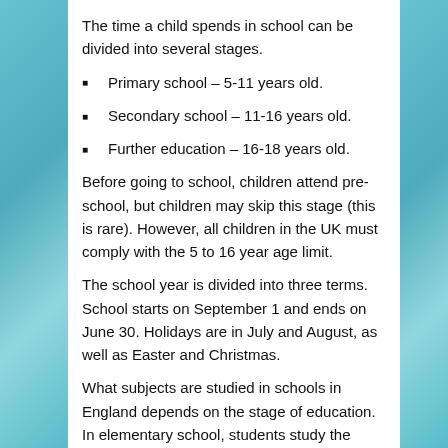The time a child spends in school can be divided into several stages.
Primary school – 5-11 years old.
Secondary school – 11-16 years old.
Further education – 16-18 years old.
Before going to school, children attend pre-school, but children may skip this stage (this is rare). However, all children in the UK must comply with the 5 to 16 year age limit.
The school year is divided into three terms. School starts on September 1 and ends on June 30. Holidays are in July and August, as well as Easter and Christmas.
What subjects are studied in schools in England depends on the stage of education. In elementary school, students study the basic subjects.
Geography.